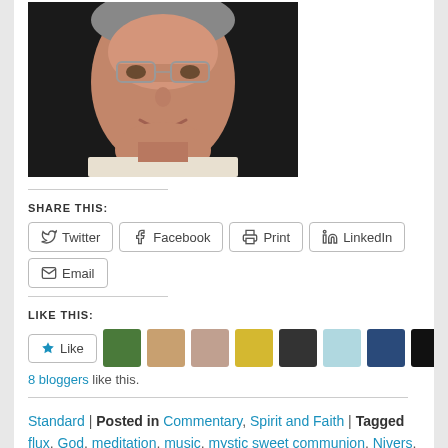[Figure (photo): Portrait photo of an older man with glasses, smiling, wearing a light-colored shirt, against a dark background.]
SHARE THIS:
Twitter | Facebook | Print | LinkedIn | Email (share buttons)
LIKE THIS:
Like | 8 bloggers like this. (with avatar thumbnails)
Standard | Posted in Commentary, Spirit and Faith | Tagged flux, God, meditation, music, mystic sweet communion, Nivers, pure divinity,